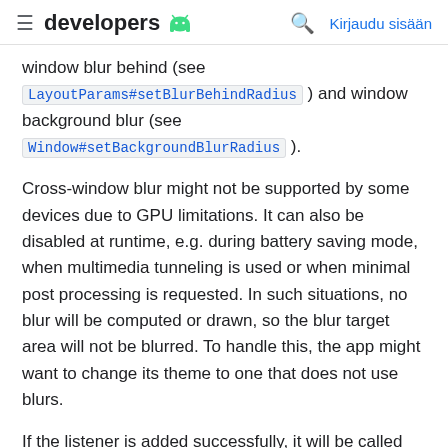≡ developers [Android logo] 🔍 Kirjaudu sisään
window blur behind (see LayoutParams#setBlurBehindRadius ) and window background blur (see Window#setBackgroundBlurRadius ).
Cross-window blur might not be supported by some devices due to GPU limitations. It can also be disabled at runtime, e.g. during battery saving mode, when multimedia tunneling is used or when minimal post processing is requested. In such situations, no blur will be computed or drawn, so the blur target area will not be blurred. To handle this, the app might want to change its theme to one that does not use blurs.
If the listener is added successfully, it will be called immediately with the current cross-window blur enabled state.